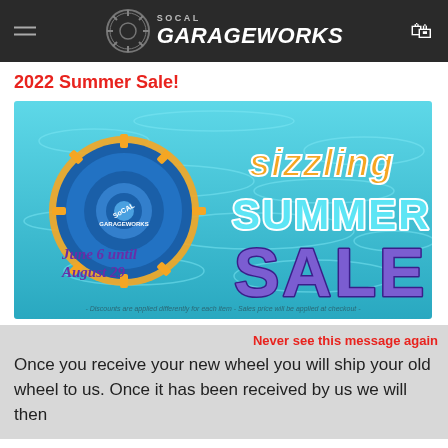SoCal Garageworks
2022 Summer Sale!
[Figure (illustration): Sizzling Summer Sale promotional banner for SoCal Garageworks. Features the SoCal Garageworks logo (gear/wheel shape with orange and blue colors on a pool/water background), large colorful text reading 'sizzling SUMMER SALE', date text 'June 6 until August 29', and fine print '- Discounts are applied differently for each item - Sales price will be applied at checkout -']
Never see this message again
Once you receive your new wheel you will ship your old wheel to us. Once it has been received by us we will then